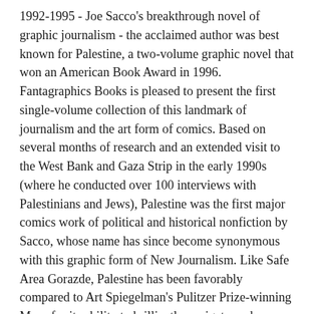1992-1995 - Joe Sacco's breakthrough novel of graphic journalism - the acclaimed author was best known for Palestine, a two-volume graphic novel that won an American Book Award in 1996. Fantagraphics Books is pleased to present the first single-volume collection of this landmark of journalism and the art form of comics. Based on several months of research and an extended visit to the West Bank and Gaza Strip in the early 1990s (where he conducted over 100 interviews with Palestinians and Jews), Palestine was the first major comics work of political and historical nonfiction by Sacco, whose name has since become synonymous with this graphic form of New Journalism. Like Safe Area Gorazde, Palestine has been favorably compared to Art Spiegelman's Pulitzer Prize-winning Maus for its ability to brilliantly navigate such socially and politically sensitive subject matter within the confines of the comic book medium. Sacco has often been called the first comic book journalist, and he is certainly the best. This edition of Palestine also features an introduction from...